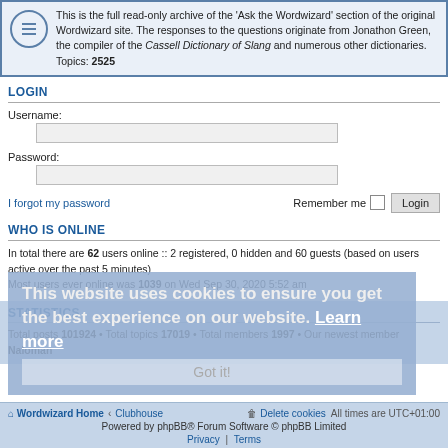This is the full read-only archive of the 'Ask the Wordwizard' section of the original Wordwizard site. The responses to the questions originate from Jonathon Green, the compiler of the Cassell Dictionary of Slang and numerous other dictionaries. Topics: 2525
LOGIN
Username:
Password:
I forgot my password    Remember me  [checkbox]  Login
WHO IS ONLINE
In total there are 62 users online :: 2 registered, 0 hidden and 60 guests (based on users active over the past 5 minutes)
Most users ever online was 1039 on Wed Sep 30, 2020 5:52 am
STATISTICS
Total posts 101924 • Total topics 17019 • Total members 1997 • Our newest member Naloman
This website uses cookies to ensure you get the best experience on our website. Learn more
Wordwizard Home • Clubhouse  Delete cookies  All times are UTC+01:00
Powered by phpBB® Forum Software © phpBB Limited
Privacy | Terms